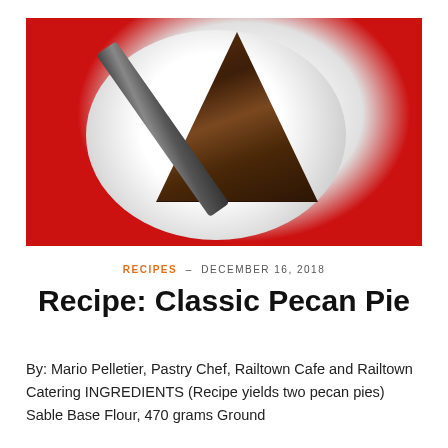[Figure (photo): A slice of pecan pie on a white round plate with a fork on a red background]
RECIPES – DECEMBER 16, 2018
Recipe: Classic Pecan Pie
By: Mario Pelletier, Pastry Chef, Railtown Cafe and Railtown Catering INGREDIENTS (Recipe yields two pecan pies) Sable Base Flour, 470 grams Ground